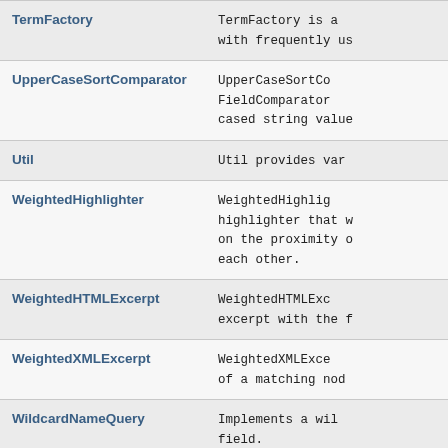| Class | Description |
| --- | --- |
| TermFactory | TermFactory is a... with frequently us... |
| UpperCaseSortComparator | UpperCaseSortCo... FieldComparator... cased string value... |
| Util | Util provides var... |
| WeightedHighlighter | WeightedHighlig... highlighter that w... on the proximity o... each other. |
| WeightedHTMLExcerpt | WeightedHTMLExc... excerpt with the f... |
| WeightedXMLExcerpt | WeightedXMLExce... of a matching nod... |
| WildcardNameQuery | Implements a wil... field. |
| WildcardQuery | Implements a wil... |